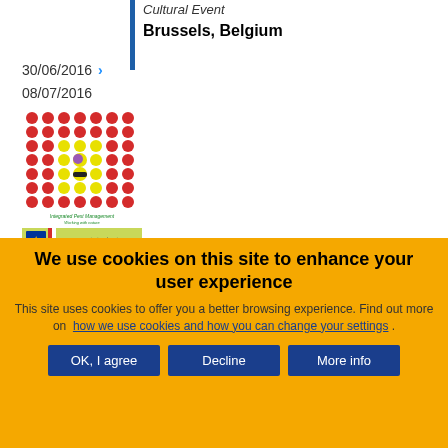Cultural Event
Brussels, Belgium
30/06/2016 >
08/07/2016
[Figure (photo): Book cover for Integrated Pest Management showing a grid of red tomatoes with some colored icons in the center, with a striped bar at the bottom showing EU and other logos.]
We use cookies on this site to enhance your user experience
This site uses cookies to offer you a better browsing experience. Find out more on how we use cookies and how you can change your settings .
OK, I agree
Decline
More info